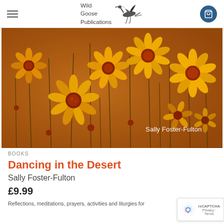Wild Goose Publications
[Figure (photo): Close-up photograph of orange and yellow daisy-like wildflowers with dark red centres against a warm amber-brown background. Text overlay reads 'Sally Foster-Fulton' in white at bottom right.]
BOOKS
Dancing in the Desert
Sally Foster-Fulton
£9.99
Reflections, meditations, prayers, activities and liturgies for